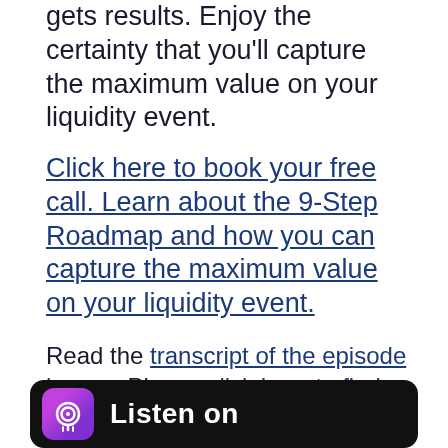gets results. Enjoy the certainty that you'll capture the maximum value on your liquidity event.
Click here to book your free call. Learn about the 9-Step Roadmap and how you can capture the maximum value on your liquidity event.
Read the transcript of the episode here. Please click here to find transcripts of all episodes.
[Figure (logo): Apple Podcasts 'Listen on' badge with purple podcast icon on black rounded rectangle background]